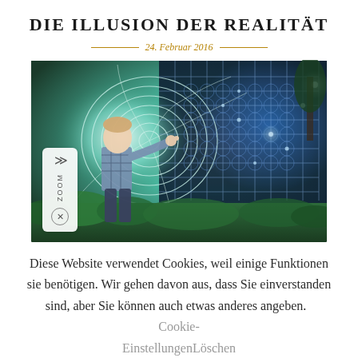DIE ILLUSION DER REALITÄT
24. Februar 2016
[Figure (photo): A child reaching out to touch a glowing spiral and geometric lattice pattern in a surreal forest environment. The image blends nature (green plants, trees) with mystical sacred geometry patterns in teal, blue, and white light.]
Diese Website verwendet Cookies, weil einige Funktionen sie benötigen. Wir gehen davon aus, dass Sie einverstanden sind, aber Sie können auch etwas anderes angeben. Cookie-EinstellungenLöschen